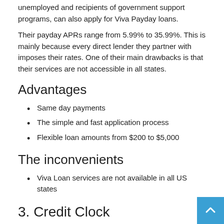unemployed and recipients of government support programs, can also apply for Viva Payday loans.
Their payday APRs range from 5.99% to 35.99%. This is mainly because every direct lender they partner with imposes their rates. One of their main drawbacks is that their services are not accessible in all states.
Advantages
Same day payments
The simple and fast application process
Flexible loan amounts from $200 to $5,000
The inconvenients
Viva Loan services are not available in all US states
3. Credit Clock
Credit Clock Loan is considered best for quick loan approvals.